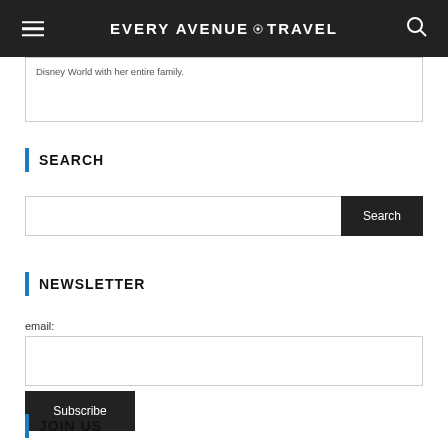EVERY AVENUE TRAVEL
Disney World with her entire family.
SEARCH
Search
NEWSLETTER
email:
Subscribe
JOIN US